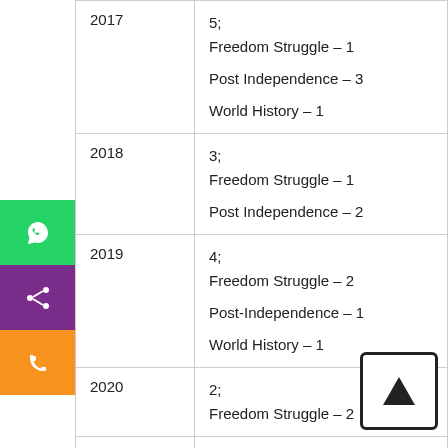| Year | Details |
| --- | --- |
| 2017 | 5;
Freedom Struggle – 1
Post Independence – 3
World History – 1 |
| 2018 | 3;
Freedom Struggle – 1
Post Independence – 2 |
| 2019 | 4;
Freedom Struggle – 2
Post-Independence – 1
World History – 1 |
| 2020 | 2;
Freedom Struggle – 2 |
| 2021 | 5;
Freedom Struggle – 3 |